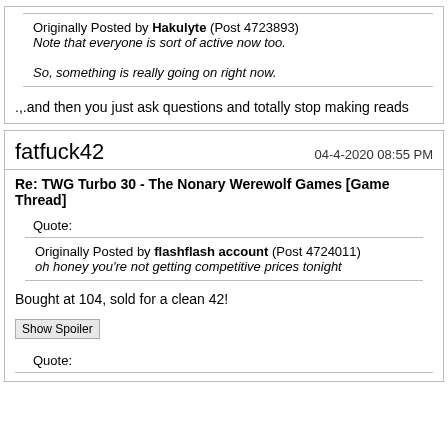Originally Posted by Hakulyte (Post 4723893)
Note that everyone is sort of active now too.

So, something is really going on right now.
.,..and then you just ask questions and totally stop making reads
fatfuck42   04-4-2020 08:55 PM
Re: TWG Turbo 30 - The Nonary Werewolf Games [Game Thread]
Quote:
Originally Posted by flashflash account (Post 4724011)
oh honey you're not getting competitive prices tonight
Bought at 104, sold for a clean 42!
Show Spoiler
Quote: